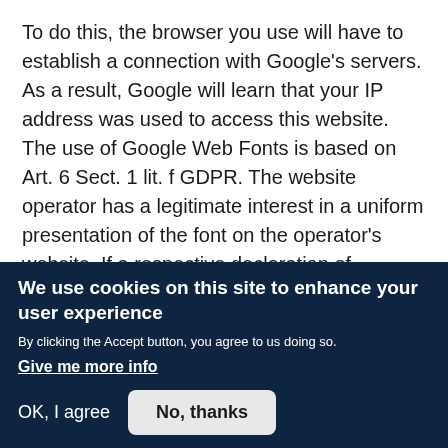To do this, the browser you use will have to establish a connection with Google's servers. As a result, Google will learn that your IP address was used to access this website. The use of Google Web Fonts is based on Art. 6 Sect. 1 lit. f GDPR. The website operator has a legitimate interest in a uniform presentation of the font on the operator's website. If a respective declaration of consent has been obtained (e.g. consent to the archiving of cookies), the data will be processed exclusively on the basis of Art. 6 Sect. 1 lit. a GDPR. Any such consent may be revoked at any time.
We use cookies on this site to enhance your user experience
By clicking the Accept button, you agree to us doing so.
Give me more info
OK, I agree
No, thanks